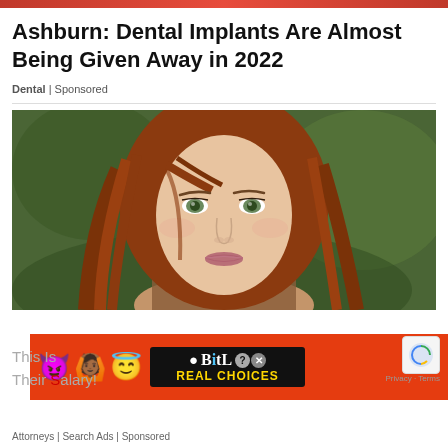Ashburn: Dental Implants Are Almost Being Given Away in 2022
Dental | Sponsored
[Figure (photo): Close-up portrait of a young woman with long auburn/red hair and green eyes, looking slightly to the side against a blurred green background]
[Figure (infographic): BitLife advertisement banner with red background, emoji icons (devil, person with hands up, angel), a sperm emoji, and a black box showing 'BitLife REAL CHOICES' text]
This Is Their Salary!
Attorneys | Search Ads | Sponsored